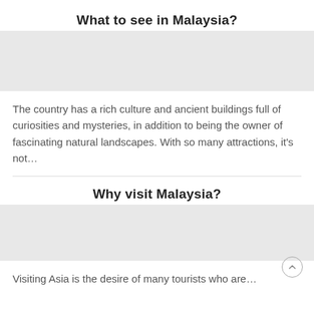What to see in Malaysia?
[Figure (photo): Photo placeholder for Malaysia attractions]
The country has a rich culture and ancient buildings full of curiosities and mysteries, in addition to being the owner of fascinating natural landscapes. With so many attractions, it's not…
Why visit Malaysia?
[Figure (photo): Photo placeholder for Malaysia visit]
Visiting Asia is the desire of many tourists who are…